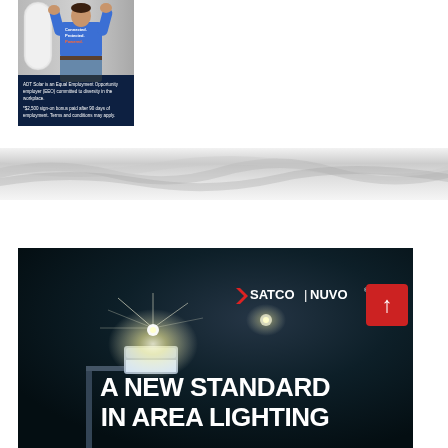[Figure (photo): ADT Solar advertisement showing a technician in a blue 'Connected. Protected. Powered.' shirt working on a wall-mounted unit. Bottom overlay text reads 'ADT Solar is an Equal Employment Opportunity employer (EEO) committed to diversity in the workplace.' and '$2,500 sign-on bonus paid after 90 days of employment. Terms and conditions may apply.']
[Figure (photo): Gray abstract wave/textile texture band spanning the full width of the page]
[Figure (photo): Satco | Nuvo advertisement showing a street lighting fixture at night with bright light burst, logo 'SATCO | NUVO' in upper right area, and large white bold text 'A NEW STANDARD IN AREA LIGHTING' at the bottom. A red scroll-up arrow button appears in the upper right corner.]